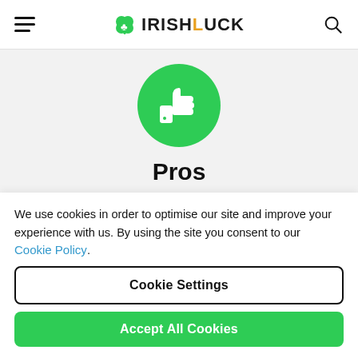IRISHLUCK
[Figure (illustration): Green circle with white thumbs-up icon]
Pros
We use cookies in order to optimise our site and improve your experience with us. By using the site you consent to our Cookie Policy.
Cookie Settings
Accept All Cookies